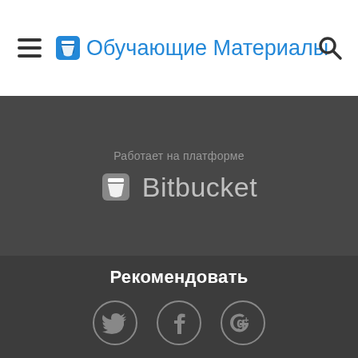Обучающие Материалы
[Figure (logo): Bitbucket logo and text reading 'Bitbucket' with label 'Работает на платформе' above]
Рекомендовать
[Figure (infographic): Three circular social media icons: Twitter, Facebook, Google+]